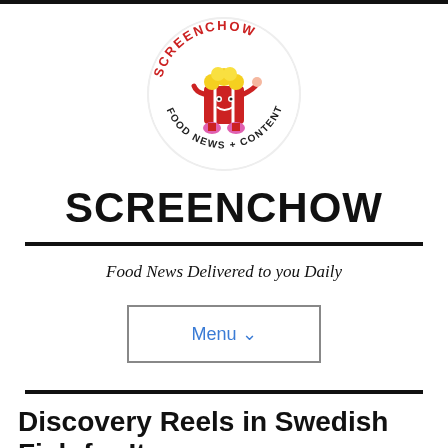[Figure (logo): Screenchow circular logo with a cartoon popcorn bucket character wearing pink boots. Text around the circle reads 'SCREENCHOW' at top in red and 'FOOD NEWS + CONTENT' at bottom.]
SCREENCHOW
Food News Delivered to you Daily
Menu
Discovery Reels in Swedish Fish for Its